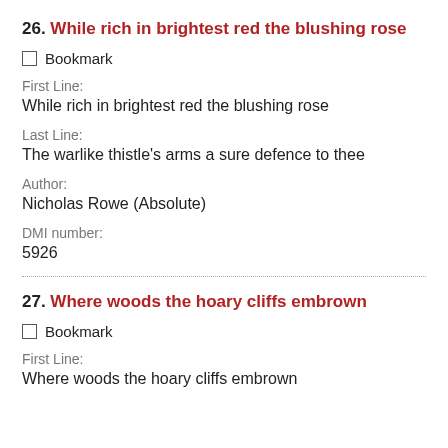26. While rich in brightest red the blushing rose
Bookmark
First Line:
While rich in brightest red the blushing rose
Last Line:
The warlike thistle's arms a sure defence to thee
Author:
Nicholas Rowe (Absolute)
DMI number:
5926
27. Where woods the hoary cliffs embrown
Bookmark
First Line:
Where woods the hoary cliffs embrown